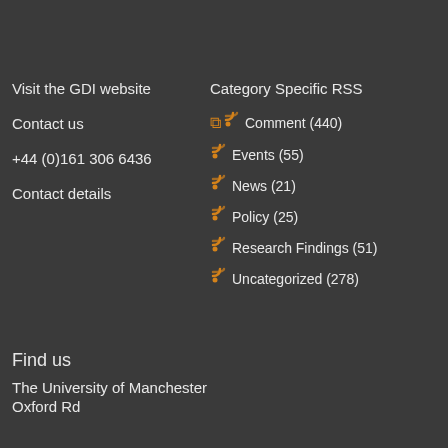Visit the GDI website
Contact us
+44 (0)161 306 6436
Contact details
Category Specific RSS
Comment (440)
Events (55)
News (21)
Policy (25)
Research Findings (51)
Uncategorized (278)
Find us
The University of Manchester
Oxford Rd